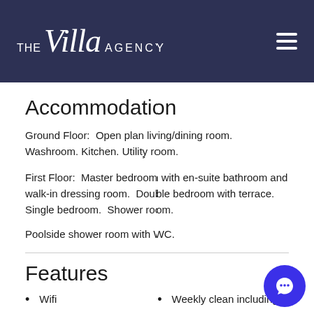THE Villa AGENCY
Accommodation
Ground Floor:  Open plan living/dining room.  Washroom.  Kitchen.  Utility room.
First Floor:  Master bedroom with en-suite bathroom and walk-in dressing room.  Double bedroom with terrace.  Single bedroom.  Shower room.
Poolside shower room with WC.
Features
Wifi
Weekly clean including